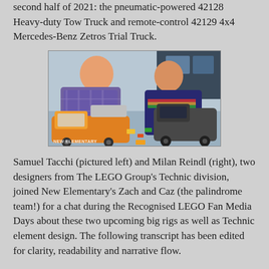second half of 2021: the pneumatic-powered 42128 Heavy-duty Tow Truck and remote-control 42129 4x4 Mercedes-Benz Zetros Trial Truck.
[Figure (photo): Two men (Samuel Tacchi on the left and Milan Reindl on the right) posing with large LEGO Technic models: a heavy-duty tow truck on the left and a 4x4 Mercedes-Benz Zetros Trial Truck on the right. The watermark 'NEW ELEMENTARY' is visible in the lower left corner.]
Samuel Tacchi (pictured left) and Milan Reindl (right), two designers from The LEGO Group's Technic division, joined New Elementary's Zach and Caz (the palindrome team!) for a chat during the Recognised LEGO Fan Media Days about these two upcoming big rigs as well as Technic element design. The following transcript has been edited for clarity, readability and narrative flow.